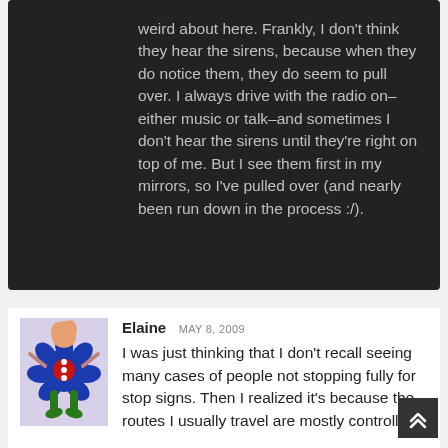weird about here. Frankly, I don't think they hear the sirens, because when they do notice them, they do seem to pull over. I always drive with the radio on–either music or talk–and sometimes I don't hear the sirens until they're right on top of me. But I see them first in my mirrors, so I've pulled over (and nearly been run down in the process :/).
Elaine MAY 8, 2009
I was just thinking that I don't recall seeing many cases of people not stopping fully for stop signs. Then I realized it's because the routes I usually travel are mostly controlled